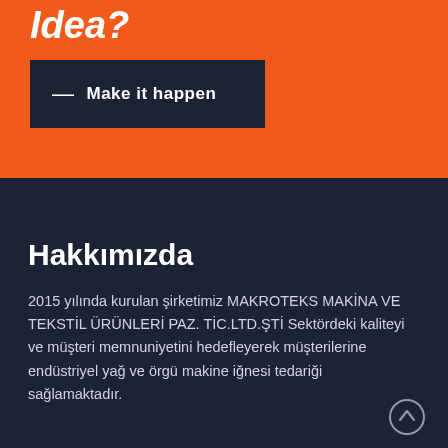Idea?
— Make it happen
Hakkımızda
2015 yılında kurulan şirketimiz MAKROTEKS MAKİNA VE TEKSTİL ÜRÜNLERİ PAZ. TİC.LTD.ŞTİ Sektördeki kaliteyi ve müşteri memnuniyetini hedefleyerek müşterilerine endüstriyel yağ ve örgü makine iğnesi tedariği sağlamaktadır.